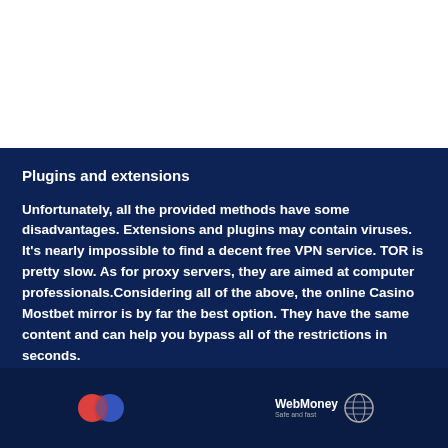Plugins and extensions
Unfortunately, all the provided methods have some disadvantages. Extensions and plugins may contain viruses. It's nearly impossible to find a decent free VPN service. TOR is pretty slow. As for proxy servers, they are aimed at computer professionals.Considering all of the above, the online Casino Mostbet mirror is by far the best option. They have the same content and can help you bypass all of the restrictions in seconds.
[Figure (logo): Mastercard logo (two overlapping circles, red and blue) and WebMoney logo with globe icon]